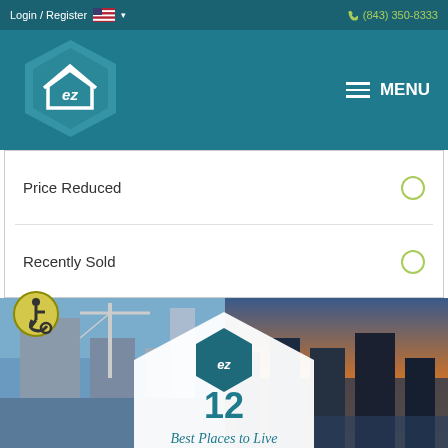Login / Register  (843) 350-8333
[Figure (logo): EZ Homes hexagon logo in teal with 'ez' text inside a house outline]
MENU
Price Reduced
Recently Sold
[Figure (other): Wheelchair accessibility icon — person in wheelchair inside a yellow circle]
[Figure (photo): Collage of four city photos of Arlington VA skyline scenes. Overlaid with a white hexagon containing the EZ logo and text: 12 Best Places to Live in Arlington, VA]
12 Best Places to Live in Arlington, VA